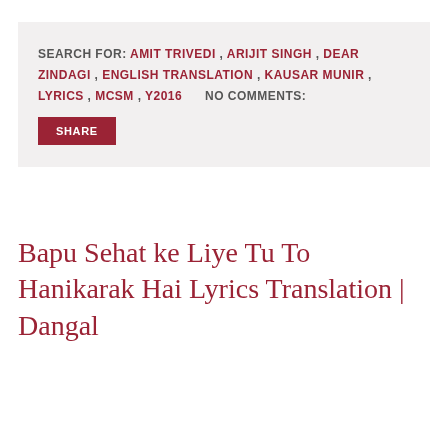SEARCH FOR: AMIT TRIVEDI , ARIJIT SINGH , DEAR ZINDAGI , ENGLISH TRANSLATION , KAUSAR MUNIR , LYRICS , MCSM , Y2016   NO COMMENTS:
SHARE
Bapu Sehat ke Liye Tu To Hanikarak Hai Lyrics Translation | Dangal